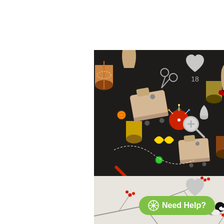[Figure (photo): Dark background fabric with classic sewing notions pattern: sewing machines, thread spools, scissors, buttons, dress forms, thimbles, pins in colorful illustration style]
18
classic sewing notions
[Figure (photo): Light gray background fabric with winter birds (chickadees) perched on bare branches with red berries pattern]
55
Need Help?